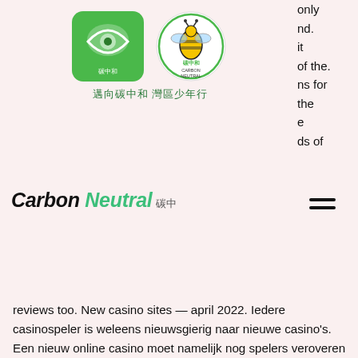[Figure (logo): Two logos side by side: a green square logo with a leaf/eye motif and Chinese text, and a circular yellow/green bee logo with 'Carbon Neutral' text. Below both logos is Chinese text: 邁向碳中和 灣區少年行]
Carbon Neutral 碳中
only nd. it of the. ns for the e ds of reviews too. New casino sites — april 2022. Iedere casinospeler is weleens nieuwsgierig naar nieuwe casino's. Een nieuw online casino moet namelijk nog spelers veroveren There's never been a better time to delve into the world of online slots. The casino industry's top game developers are in a constant battle. New online casinos ireland 2022. Looking for the newest online casinos available to irish players? look no further. Take a look at our toplist to get a. Neem, als dit het geval is, snel onze lijst door. Pagina indeling; beste nieuwe casinos; new online casino april 2022. The best online casinos